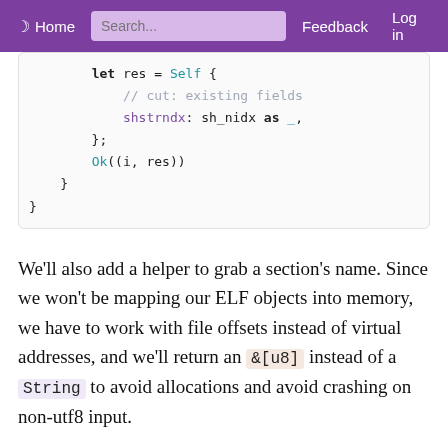Home  Search...  Feedback  Log in
[Figure (screenshot): Code snippet in Rust showing: let res = Self { // cut: existing fields  shstrndx: sh_nidx as _,  };  Ok((i, res))  }  }]
We'll also add a helper to grab a section's name. Since we won't be mapping our ELF objects into memory, we have to work with file offsets instead of virtual addresses, and we'll return an &[u8] instead of a String to avoid allocations and avoid crashing on non-utf8 input.